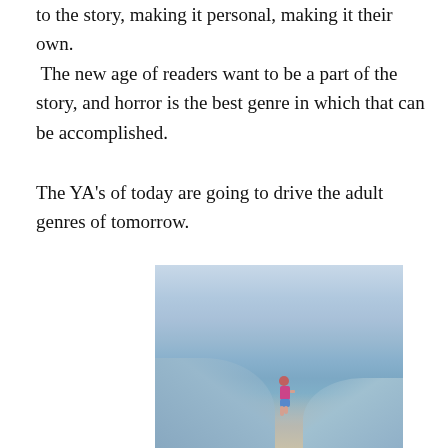to the story, making it personal, making it their own. The new age of readers want to be a part of the story, and horror is the best genre in which that can be accomplished.
The YA’s of today are going to drive the adult genres of tomorrow.
[Figure (photo): A young child running along the shoreline of a calm ocean or large lake at dusk, with soft blue-grey water and a gentle sandy shore.]